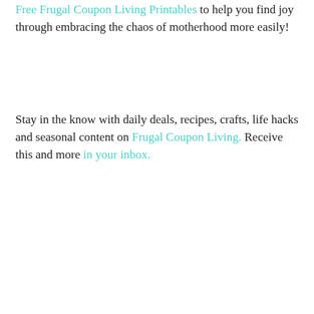Free Frugal Coupon Living Printables to help you find joy through embracing the chaos of motherhood more easily!
Stay in the know with daily deals, recipes, crafts, life hacks and seasonal content on Frugal Coupon Living. Receive this and more in your inbox.